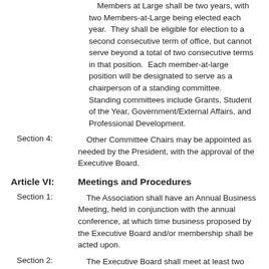Members at Large shall be two years, with two Members-at-Large being elected each year.  They shall be eligible for election to a second consecutive term of office, but cannot serve beyond a total of two consecutive terms in that position.  Each member-at-large position will be designated to serve as a chairperson of a standing committee.  Standing committees include Grants, Student of the Year, Government/External Affairs, and Professional Development.
Section 4: Other Committee Chairs may be appointed as needed by the President, with the approval of the Executive Board.
Article VI: Meetings and Procedures
Section 1: The Association shall have an Annual Business Meeting, held in conjunction with the annual conference, at which time business proposed by the Executive Board and/or membership shall be acted upon.
Section 2: The Executive Board shall meet at least two times during the year, in addition to the Annual Meeting.
Section 3: Additional meetings shall be called if